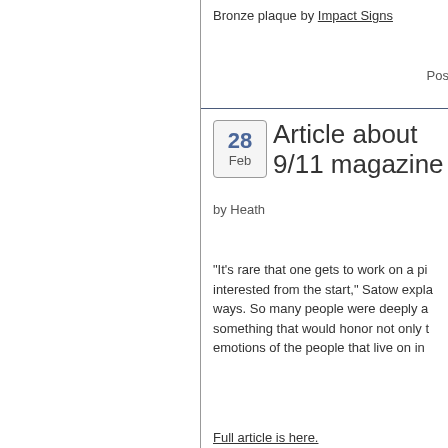Bronze plaque by Impact Signs
Pos
Article about 9/11 magazine
by Heath
“It’s rare that one gets to work on a pi interested from the start,” Satow expla ways. So many people were deeply a something that would honor not only t emotions of the people that live on in
Full article is here.
[Figure (photo): Blue rectangular image area]